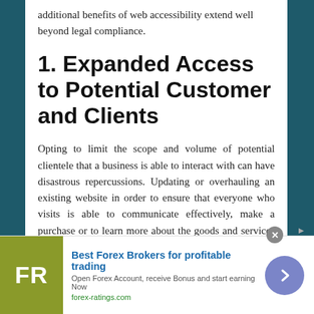additional benefits of web accessibility extend well beyond legal compliance.
1. Expanded Access to Potential Customer and Clients
Opting to limit the scope and volume of potential clientele that a business is able to interact with can have disastrous repercussions. Updating or overhauling an existing website in order to ensure that everyone who visits is able to communicate effectively, make a purchase or to learn more about the goods and services that a business has to offer can have lasting repercussions. Many businesses succeed or fail based solely on the size of their customer
[Figure (infographic): Advertisement banner for Best Forex Brokers — FR logo on olive/yellow-green background, ad title 'Best Forex Brokers for profitable trading', subtitle 'Open Forex Account, receive Bonus and start earning Now', URL 'forex-ratings.com', arrow button, close button]